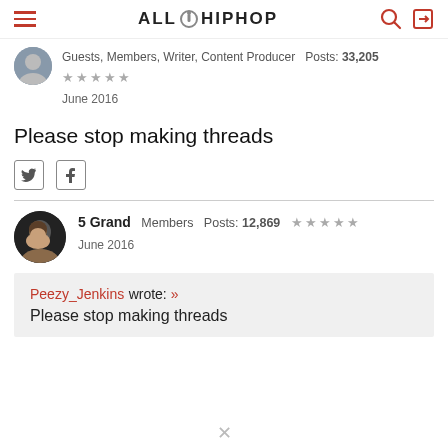AllHipHop
Guests, Members, Writer, Content Producer  Posts: 33,205  ★★★★★  June 2016
Please stop making threads
Twitter and Facebook share icons
5 Grand  Members  Posts: 12,869  ★★★★★  June 2016
Peezy_Jenkins wrote: »
Please stop making threads